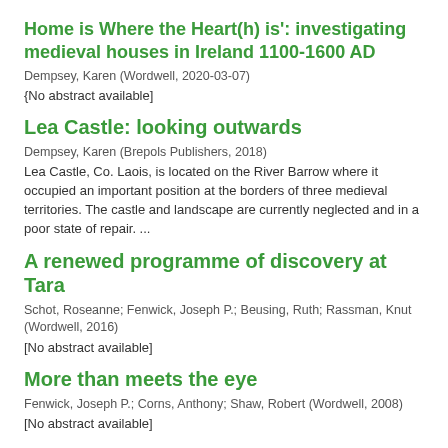Home is Where the Heart(h) is': investigating medieval houses in Ireland 1100-1600 AD
Dempsey, Karen (Wordwell, 2020-03-07)
{No abstract available]
Lea Castle: looking outwards
Dempsey, Karen (Brepols Publishers, 2018)
Lea Castle, Co. Laois, is located on the River Barrow where it occupied an important position at the borders of three medieval territories. The castle and landscape are currently neglected and in a poor state of repair. ...
A renewed programme of discovery at Tara
Schot, Roseanne; Fenwick, Joseph P.; Beusing, Ruth; Rassman, Knut (Wordwell, 2016)
[No abstract available]
More than meets the eye
Fenwick, Joseph P.; Corns, Anthony; Shaw, Robert (Wordwell, 2008)
[No abstract available]